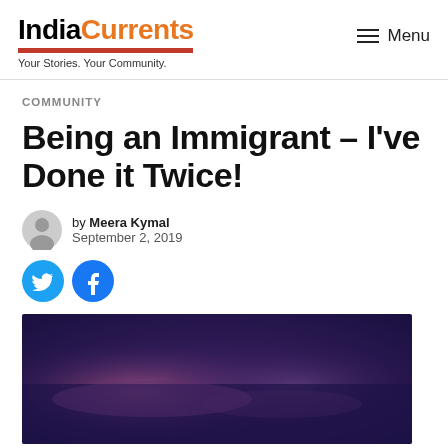IndiaCurrents — Your Stories. Your Community.
COMMUNITY
Being an Immigrant – I've Done it Twice!
by Meera Kymal
September 2, 2019
[Figure (photo): Abstract blurred photo with dark blue and purple tones, likely an atmospheric/sky scene]